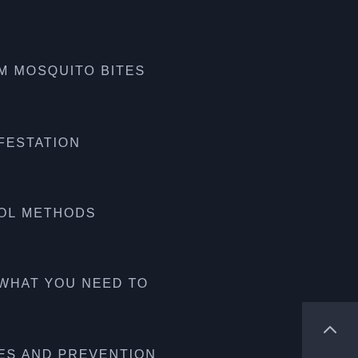M MOSQUITO BITES
FESTATION
OL METHODS
WHAT YOU NEED TO
ES AND PREVENTION